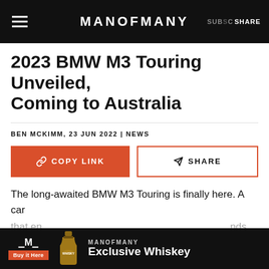MANOFMANY
2023 BMW M3 Touring Unveiled, Coming to Australia
BEN MCKIMM, 23 JUN 2022 | NEWS
COPY LINK   SHARE
The long-awaited BMW M3 Touring is finally here. A car that en... nds on sin... is set
[Figure (other): Ad banner for MANOFMANY Exclusive Whiskey with Buy it Here button and whiskey bottle image]